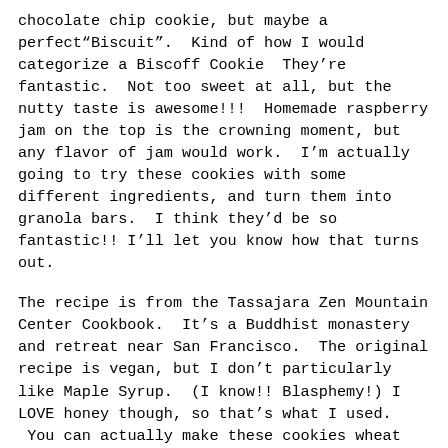chocolate chip cookie, but maybe a perfect“Biscuit”.  Kind of how I would categorize a Biscoff Cookie  They’re fantastic.  Not too sweet at all, but the nutty taste is awesome!!!  Homemade raspberry jam on the top is the crowning moment, but any flavor of jam would work.  I’m actually going to try these cookies with some different ingredients, and turn them into granola bars.  I think they’d be so fantastic!! I’ll let you know how that turns out.
The recipe is from the Tassajara Zen Mountain Center Cookbook.  It’s a Buddhist monastery and retreat near San Francisco.  The original recipe is vegan, but I don’t particularly like Maple Syrup.  (I know!! Blasphemy!) I LOVE honey though, so that’s what I used.  You can actually make these cookies wheat free (that’s if you aren’t “Rootin’ for